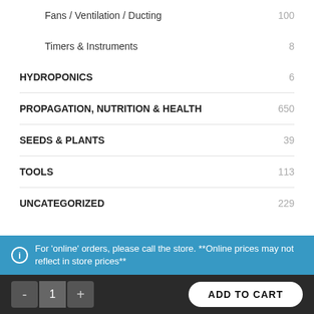Fans / Ventilation / Ducting  100
Timers & Instruments  8
HYDROPONICS  6
PROPAGATION, NUTRITION & HEALTH  650
SEEDS & PLANTS  39
TOOLS  113
UNCATEGORIZED  229
For 'online' orders, please call the store. **Online prices may not reflect in store prices**